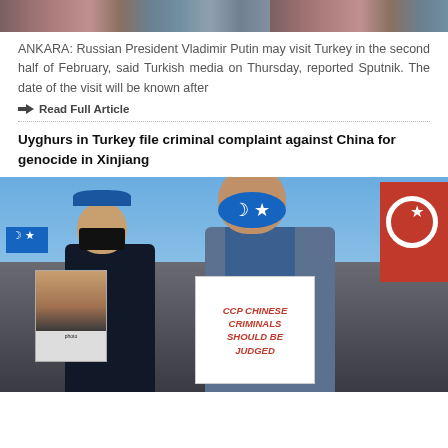[Figure (photo): Top portion of a news article photo showing people, partially cropped]
ANKARA: Russian President Vladimir Putin may visit Turkey in the second half of February, said Turkish media on Thursday, reported Sputnik. The date of the visit will be known after
Read Full Article
Uyghurs in Turkey file criminal complaint against China for genocide in Xinjiang
[Figure (photo): Uyghur protesters in Turkey wearing masks, holding signs reading 'CCP CHINESE CRIMINALS SHOULD BE JUDGED' and photos of relatives, with Turkish and East Turkestan flags visible]